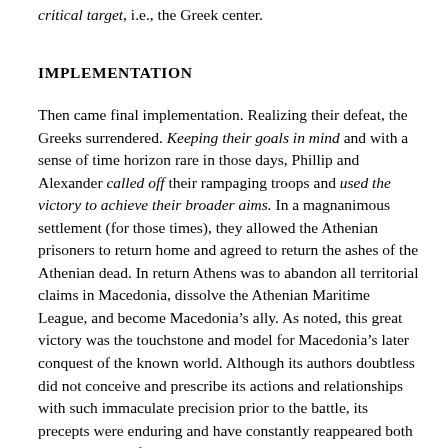critical target, i.e., the Greek center.
IMPLEMENTATION
Then came final implementation. Realizing their defeat, the Greeks surrendered. Keeping their goals in mind and with a sense of time horizon rare in those days, Phillip and Alexander called off their rampaging troops and used the victory to achieve their broader aims. In a magnanimous settlement (for those times), they allowed the Athenian prisoners to return home and agreed to return the ashes of the Athenian dead. In return Athens was to abandon all territorial claims in Macedonia, dissolve the Athenian Maritime League, and become Macedonia’s ally. As noted, this great victory was the touchstone and model for Macedonia’s later conquest of the known world. Although its authors doubtless did not conceive and prescribe its actions and relationships with such immaculate precision prior to the battle, its precepts were enduring and have constantly reappeared both in other successful “grand” and “battle” strategies and in the mainstreams of strategic thought over the next